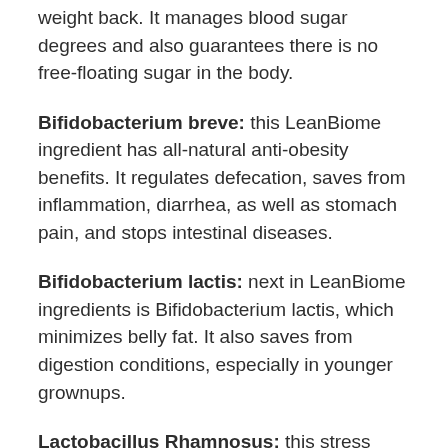weight back. It manages blood sugar degrees and also guarantees there is no free-floating sugar in the body.
Bifidobacterium breve: this LeanBiome ingredient has all-natural anti-obesity benefits. It regulates defecation, saves from inflammation, diarrhea, as well as stomach pain, and stops intestinal diseases.
Bifidobacterium lactis: next in LeanBiome ingredients is Bifidobacterium lactis, which minimizes belly fat. It also saves from digestion conditions, especially in younger grownups.
Lactobacillus Rhamnosus: this stress promotes fat burning and also gets rid of fat from the